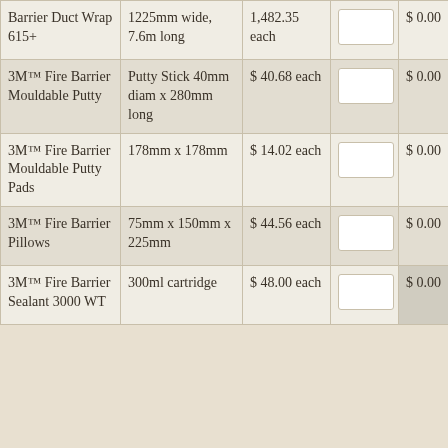| Product | Description | Unit Price | Qty | Total |
| --- | --- | --- | --- | --- |
| Barrier Duct Wrap 615+ | 1225mm wide, 7.6m long | 1,482.35 each |  | $ 0.00 |
| 3M™ Fire Barrier Mouldable Putty | Putty Stick 40mm diam x 280mm long | $ 40.68 each |  | $ 0.00 |
| 3M™ Fire Barrier Mouldable Putty Pads | 178mm x 178mm | $ 14.02 each |  | $ 0.00 |
| 3M™ Fire Barrier Pillows | 75mm x 150mm x 225mm | $ 44.56 each |  | $ 0.00 |
| 3M™ Fire Barrier Sealant 3000 WT | 300ml cartridge | $ 48.00 each |  | $ 0.00 |